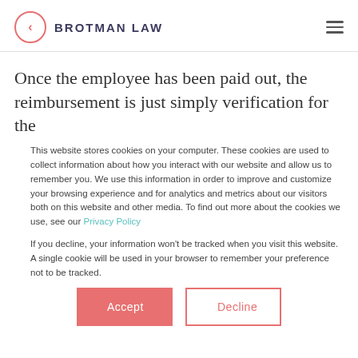< BROTMAN LAW
Once the employee has been paid out, the reimbursement is just simply verification for the
This website stores cookies on your computer. These cookies are used to collect information about how you interact with our website and allow us to remember you. We use this information in order to improve and customize your browsing experience and for analytics and metrics about our visitors both on this website and other media. To find out more about the cookies we use, see our Privacy Policy
If you decline, your information won't be tracked when you visit this website. A single cookie will be used in your browser to remember your preference not to be tracked.
Accept    Decline